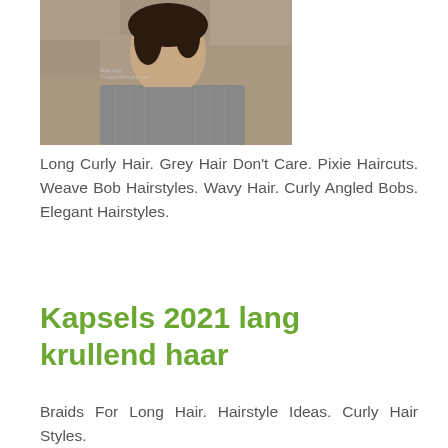[Figure (photo): Portrait photo of a woman with short dark hair wearing a grey patterned short-sleeve shirt, photographed outdoors against a stone wall background. Small watermark text visible in upper portion.]
Long Curly Hair. Grey Hair Don't Care. Pixie Haircuts. Weave Bob Hairstyles. Wavy Hair. Curly Angled Bobs. Elegant Hairstyles.
Kapsels 2021 lang krullend haar
Braids For Long Hair. Hairstyle Ideas. Curly Hair Styles.